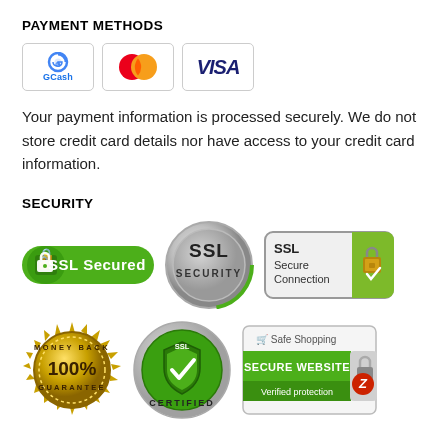PAYMENT METHODS
[Figure (logo): Payment method logos: GCash, Mastercard, Visa]
Your payment information is processed securely. We do not store credit card details nor have access to your credit card information.
SECURITY
[Figure (infographic): Security badges: SSL Secured (green), SSL Security (chrome badge), SSL Secure Connection badge, 100% Money Back Guarantee seal, SSL Certified (green), Safe Shopping / Secure Website Verified protection badge]